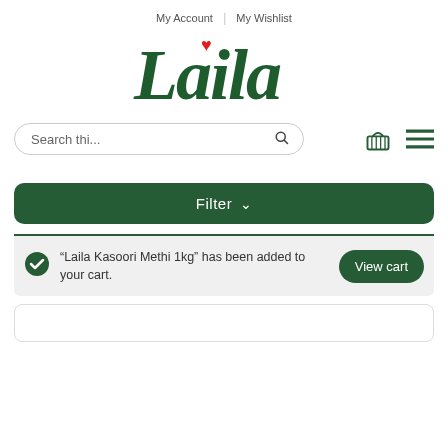My Account | My Wishlist
[Figure (logo): Laila brand logo in dark green italic script font with a red heart above the letter i]
Search thi...
Filter
"Laila Kasoori Methi 1kg" has been added to your cart.
View cart